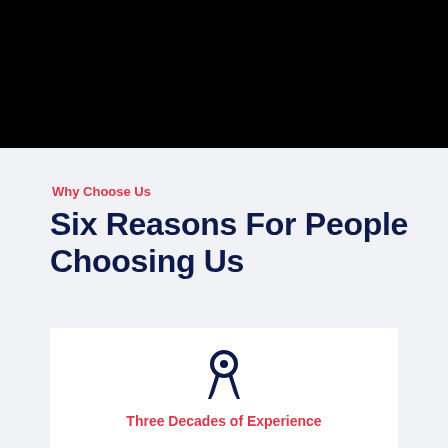[Figure (illustration): Black header banner area at top of page]
Why Choose Us
Six Reasons For People Choosing Us
[Figure (illustration): Award/medal ribbon icon in dark navy color]
Three Decades of Experience